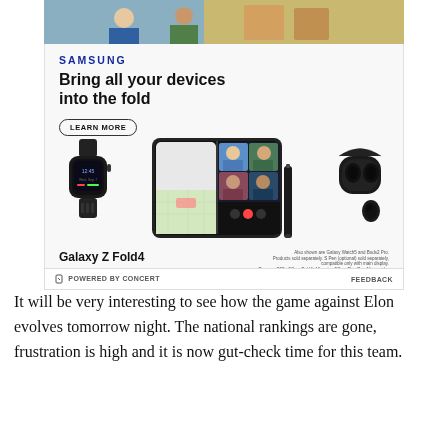[Figure (photo): Samsung advertisement for Galaxy Z Fold4 showing a foldable phone with a video call on screen, a Galaxy smartwatch, wireless earbuds, and an S Pen. Headline reads 'Bring all your devices into the fold' with a LEARN MORE button.]
POWERED BY CONCERT   FEEDBACK
It will be very interesting to see how the game against Elon evolves tomorrow night. The national rankings are gone, frustration is high and it is now gut-check time for this team.